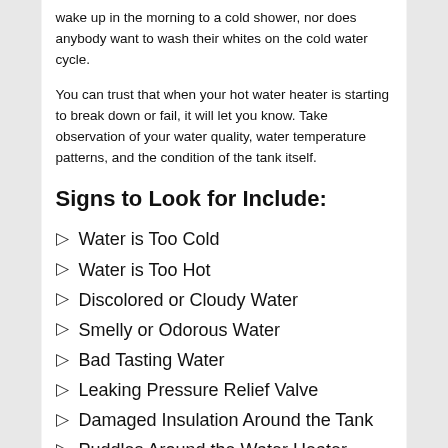wake up in the morning to a cold shower, nor does anybody want to wash their whites on the cold water cycle.
You can trust that when your hot water heater is starting to break down or fail, it will let you know. Take observation of your water quality, water temperature patterns, and the condition of the tank itself.
Signs to Look for Include:
Water is Too Cold
Water is Too Hot
Discolored or Cloudy Water
Smelly or Odorous Water
Bad Tasting Water
Leaking Pressure Relief Valve
Damaged Insulation Around the Tank
Puddles Around the Water Heater